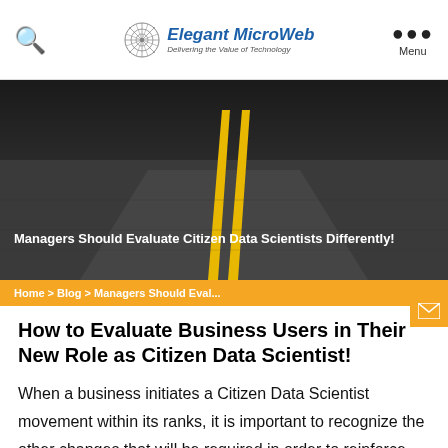Elegant MicroWeb — Delivering the Value of Technology
[Figure (photo): Aerial view of a road with yellow center lines disappearing into the distance, dark asphalt, dramatic perspective]
Managers Should Evaluate Citizen Data Scientists Differently!
Home > Blog > Managers Should Eval...
How to Evaluate Business Users in Their New Role as Citizen Data Scientist!
When a business initiates a Citizen Data Scientist movement within its ranks, it is important to recognize the other changes that will be required in order to reinforce the value of the program by reviewing and